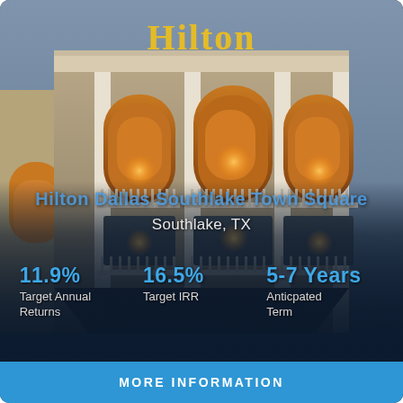[Figure (photo): Hilton hotel building exterior at dusk with arched balconies, warm interior lighting, and gold Hilton sign on facade. Located in Southlake, TX.]
Hilton Dallas Southlake Town Square
Southlake, TX
11.9%
Target Annual Returns
16.5%
Target IRR
5-7 Years
Anticpated Term
MORE INFORMATION